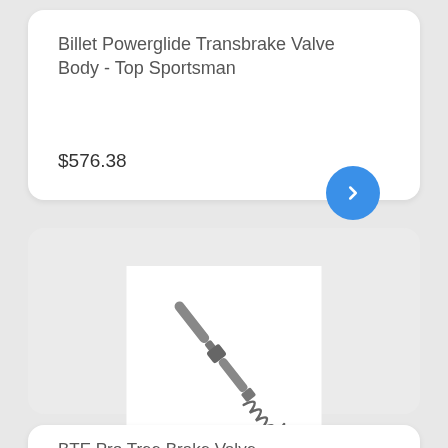Billet Powerglide Transbrake Valve Body - Top Sportsman
$576.38
[Figure (photo): Photo of a metal valve spring/pin assembly component for a transmission brake valve]
BTE Pro Tree Brake Valve
$39.97